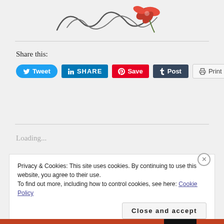[Figure (illustration): Partial logo/illustration at top of page showing stylized cursive text with red floral element]
Share this:
[Figure (infographic): Social sharing buttons: Tweet (blue), SHARE (LinkedIn blue), Save (Pinterest red), Post (Tumblr dark), Print (light)]
Loading...
Privacy & Cookies: This site uses cookies. By continuing to use this website, you agree to their use.
To find out more, including how to control cookies, see here: Cookie Policy
Close and accept